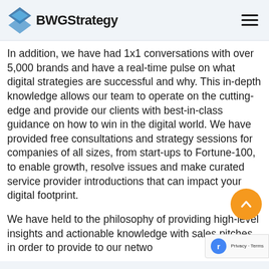BWGStrategy
In addition, we have had 1x1 conversations with over 5,000 brands and have a real-time pulse on what digital strategies are successful and why. This in-depth knowledge allows our team to operate on the cutting-edge and provide our clients with best-in-class guidance on how to win in the digital world. We have provided free consultations and strategy sessions for companies of all sizes, from start-ups to Fortune-100, to enable growth, resolve issues and make curated service provider introductions that can impact your digital footprint.
We have held to the philosophy of providing high-level insights and actionable knowledge with sales pitches in order to provide to our network ability to distinguish and outstanding...